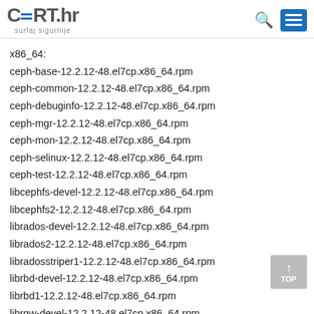CERT.hr surfaj sigurnije
x86_64:
ceph-base-12.2.12-48.el7cp.x86_64.rpm
ceph-common-12.2.12-48.el7cp.x86_64.rpm
ceph-debuginfo-12.2.12-48.el7cp.x86_64.rpm
ceph-mgr-12.2.12-48.el7cp.x86_64.rpm
ceph-mon-12.2.12-48.el7cp.x86_64.rpm
ceph-selinux-12.2.12-48.el7cp.x86_64.rpm
ceph-test-12.2.12-48.el7cp.x86_64.rpm
libcephfs-devel-12.2.12-48.el7cp.x86_64.rpm
libcephfs2-12.2.12-48.el7cp.x86_64.rpm
librados-devel-12.2.12-48.el7cp.x86_64.rpm
librados2-12.2.12-48.el7cp.x86_64.rpm
libradosstriper1-12.2.12-48.el7cp.x86_64.rpm
librbd-devel-12.2.12-48.el7cp.x86_64.rpm
librbd1-12.2.12-48.el7cp.x86_64.rpm
librgw-devel-12.2.12-48.el7cp.x86_64.rpm
librgw2-12.2.12-48.el7cp.x86_64.rpm